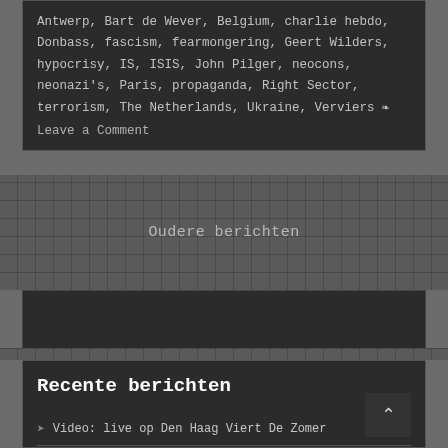Antwerp, Bart de Wever, Belgium, charlie hebdo, Donbass, fascism, fearmongering, Geert Wilders, hypocrisy, IS, ISIS, John Pilger, neocons, neonazi's, Paris, propaganda, Right Sector, terrorism, The Netherlands, Ukraine, Verviers ❧ Leave a Comment
Oudere berichten
Recente berichten
Video: live op Den Haag Viert De Zomer
Optredens in 2022!